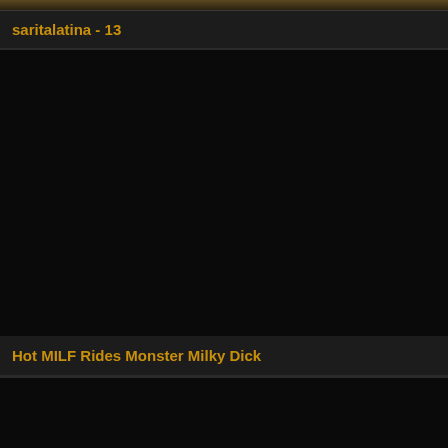[Figure (screenshot): Top strip showing partial video thumbnail with dark golden/brown tones]
saritalatina - 13
[Figure (screenshot): Large black video thumbnail card with duration badge showing 04:55]
Hot MILF Rides Monster Milky Dick
[Figure (screenshot): Partial black video thumbnail card at bottom of page]